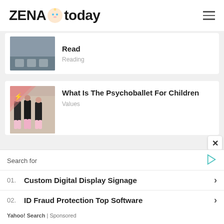ZENA today
[Figure (photo): Thumbnail image showing people's feet/legs, partially visible, for a reading article]
Read
Reading
[Figure (photo): Children in ballet costumes (black leotards and pink tutus) with a pink triangle badge in top-left corner]
What Is The Psychoballet For Children
Values
Search for
01. Custom Digital Display Signage
02. ID Fraud Protection Top Software
Yahoo! Search | Sponsored